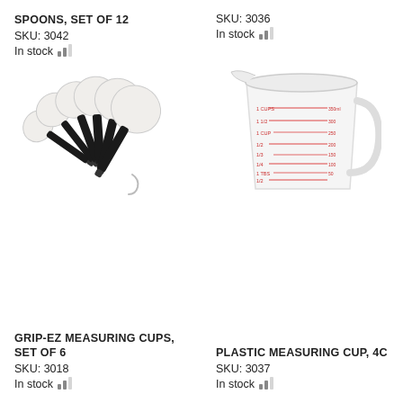SPOONS, SET OF 12
SKU: 3042
In stock
[Figure (photo): Set of measuring spoons with white bowls and black handles, fanned out]
SKU: 3036
In stock
[Figure (photo): Clear plastic measuring cup with red measurement markings, 4-cup capacity]
GRIP-EZ MEASURING CUPS, SET OF 6
SKU: 3018
In stock
PLASTIC MEASURING CUP, 4C
SKU: 3037
In stock